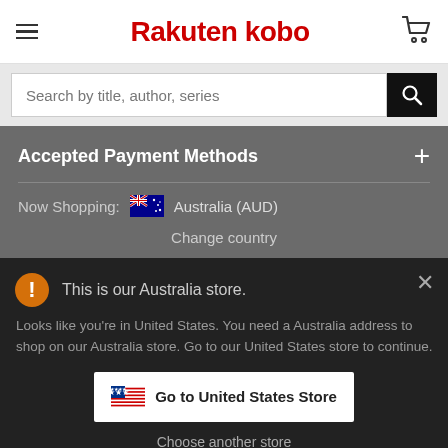Rakuten kobo
Search by title, author, series
Accepted Payment Methods
Now Shopping: Australia (AUD)
Change country
This is our Australia store.
Looks like you're in United States. You need a Australia address to shop on our Australia store. Go to our United States store to continue.
Go to United States Store
Choose another store